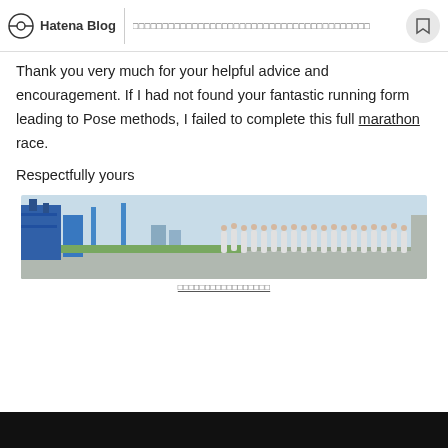Hatena Blog [Japanese navigation text]
Thank you very much for your helpful advice and encouragement. If I had not found your fantastic running form leading to Pose methods, I failed to complete this full marathon race.
Respectfully yours
[Figure (photo): A group of marathon runners on a wide road near a coastal area with blue structures/buildings visible on the left side. Runners wearing white shirts and race bibs.]
[Japanese caption text with underline]